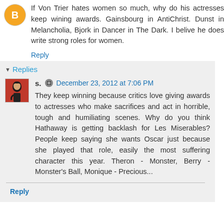If Von Trier hates women so much, why do his actresses keep wining awards. Gainsbourg in AntiChrist. Dunst in Melancholia, Bjork in Dancer in The Dark. I belive he does write strong roles for women.
Reply
Replies
s.   December 23, 2012 at 7:06 PM
They keep winning because critics love giving awards to actresses who make sacrifices and act in horrible, tough and humiliating scenes. Why do you think Hathaway is getting backlash for Les Miserables? People keep saying she wants Oscar just because she played that role, easily the most suffering character this year. Theron - Monster, Berry - Monster's Ball, Monique - Precious...
Reply